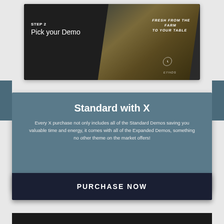[Figure (screenshot): Screenshot UI showing Step 2: Pick your Demo with a dark panel on left and a farm landscape image on right with text 'FRESH FROM THE FARM TO YOUR TABLE' and an Ethos logo circle]
Standard with X
Every X purchase not only includes all of the Standard Demos saving you valuable time and energy, it comes with all of the Expanded Demos, something no other theme on the market offers!
PURCHASE NOW